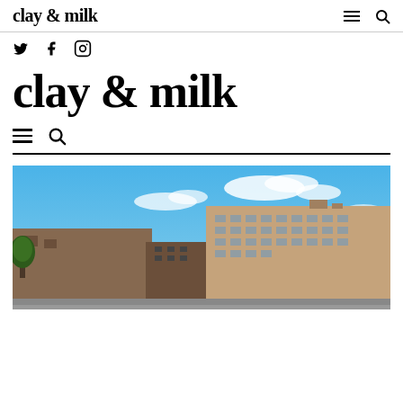clay & milk
Social icons: Twitter, Facebook, Instagram
clay & milk
Navigation: hamburger menu and search icons
[Figure (photo): Street-level photo of downtown buildings with brick facades under a bright blue sky with wispy white clouds. Trees visible on the left.]